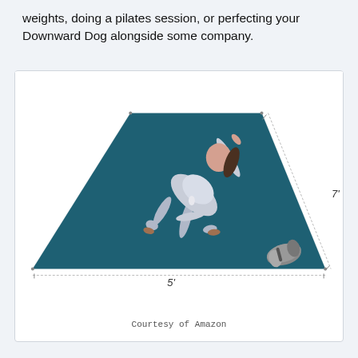weights, doing a pilates session, or perfecting your Downward Dog alongside some company.
[Figure (photo): A woman performing a side plank pose on a large teal/dark blue yoga mat. The mat is shown in perspective, labeled with dimensions 7' on the right side and 5' along the bottom. A rolled-up yoga mat is shown in the bottom right corner of the mat.]
Courtesy of Amazon